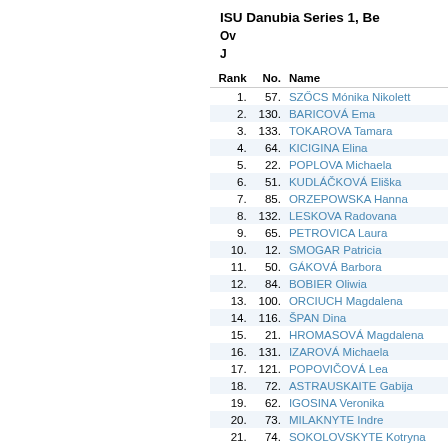ISU Danubia Series 1, Be
Ov
J
| Rank | No. | Name |
| --- | --- | --- |
| 1. | 57. | SZŐCS Mónika Nikolett |
| 2. | 130. | BARICOVÁ Ema |
| 3. | 133. | TOKAROVA Tamara |
| 4. | 64. | KICIGINA Elina |
| 5. | 22. | POPLOVA Michaela |
| 6. | 51. | KUDLÁČKOVÁ Eliška |
| 7. | 85. | ORZEPOWSKA Hanna |
| 8. | 132. | LESKOVA Radovana |
| 9. | 65. | PETROVICA Laura |
| 10. | 12. | SMOGAR Patricia |
| 11. | 50. | GÁKOVÁ Barbora |
| 12. | 84. | BOBIER Oliwia |
| 13. | 100. | ORCIUCH Magdalena |
| 14. | 116. | ŠPAN Dina |
| 15. | 21. | HROMASOVÁ Magdalena |
| 16. | 131. | IZAROVÁ Michaela |
| 17. | 121. | POPOVIČOVÁ Lea |
| 18. | 72. | ASTRAUSKAITE Gabija |
| 19. | 62. | IGOSINA Veronika |
| 20. | 73. | MILAKNYTE Indre |
| 21. | 74. | SOKOLOVSKYTE Kotryna |